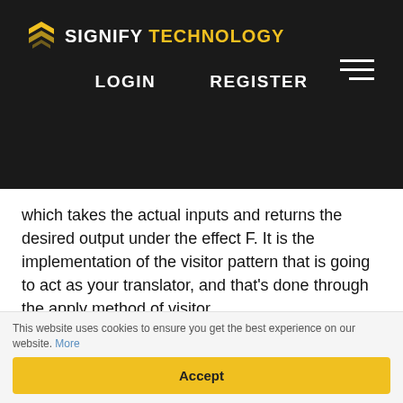SIGNIFY TECHNOLOGY — LOGIN  REGISTER
which takes the actual inputs and returns the desired output under the effect F. It is the implementation of the visitor pattern that is going to act as your translator, and that's done through the apply method of visitor.
trait Visitor[F[_]] extends (ScalazConsoleVisitor ~> F) {   def apply[A](fa: ScalazConsoleVisitor[A]): F[A] =
This website uses cookies to ensure you get the best experience on our website. More
Accept